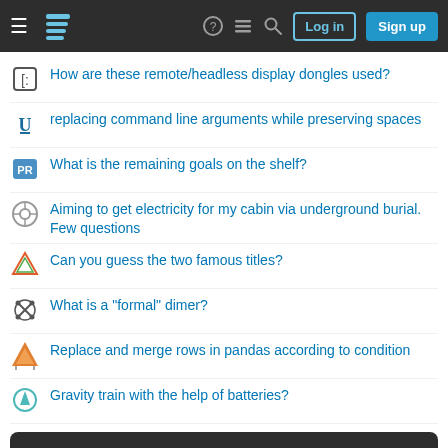Stack Exchange navigation bar with Log in and Sign up buttons
How are these remote/headless display dongles used?
replacing command line arguments while preserving spaces
What is the remaining goals on the shelf?
Aiming to get electricity for my cabin via underground burial. Few questions
Can you guess the two famous titles?
What is a "formal" dimer?
Replace and merge rows in pandas according to condition
Gravity train with the help of batteries?
Your privacy
By clicking "Accept all cookies", you agree Stack Exchange can store cookies on your device and disclose information in accordance with our Cookie Policy.
Accept all cookies  Customize settings